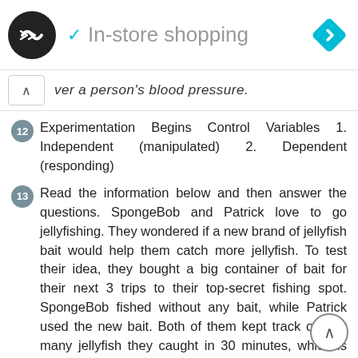In-store shopping
ver a person's blood pressure.
12  Experimentation Begins Control Variables 1. Independent (manipulated) 2. Dependent (responding)
13  Read the information below and then answer the questions. SpongeBob and Patrick love to go jellyfishing. They wondered if a new brand of jellyfish bait would help them catch more jellyfish. To test their idea, they bought a big container of bait for their next 3 trips to their top-secret fishing spot. SpongeBob fished without any bait, while Patrick used the new bait. Both of them kept track of how many jellyfish they caught in 30 minutes, which is shown in the chart. SpongeBob Patrick Which person was the control? 2. What is the independent variable? 3. What is the dependent variable?  4. Based on the data, how would you rate the new bait?